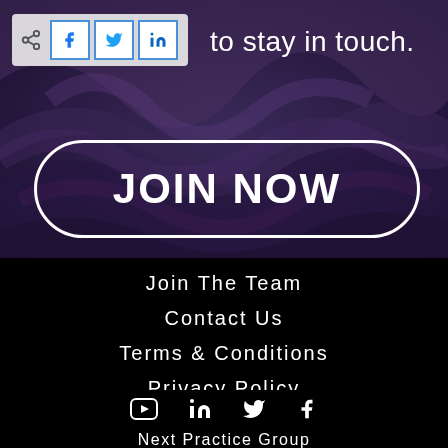[Figure (screenshot): Dark swirling marble background with social share bar (share icon, Facebook, Twitter, LinkedIn buttons) and text 'to stay in touch.' overlaid at top. A large rounded-rectangle button with white border contains bold white text 'JOIN NOW'.]
Join The Team
Contact Us
Terms & Conditions
Privacy Policy
[Figure (illustration): Row of social media icons: YouTube, LinkedIn, Twitter/X, Facebook]
Next Practice Group